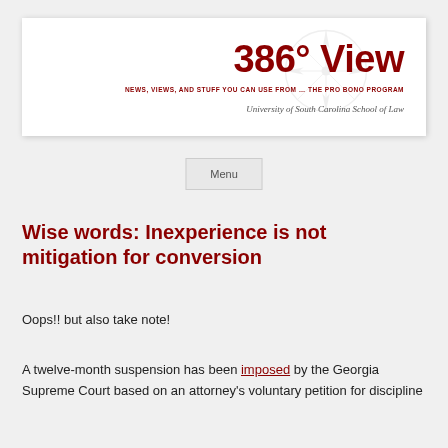[Figure (logo): 386° View newsletter header with compass watermark, subtitle 'NEWS, VIEWS, AND STUFF YOU CAN USE FROM... THE PRO BONO PROGRAM', and 'University of South Carolina School of Law']
Menu
Wise words: Inexperience is not mitigation for conversion
Oops!! but also take note!
A twelve-month suspension has been imposed by the Georgia Supreme Court based on an attorney's voluntary petition for discipline